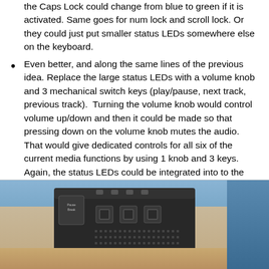the Caps Lock could change from blue to green if it is activated. Same goes for num lock and scroll lock. Or they could just put smaller status LEDs somewhere else on the keyboard.
Even better, and along the same lines of the previous idea. Replace the large status LEDs with a volume knob and 3 mechanical switch keys (play/pause, next track, previous track).  Turning the volume knob would control volume up/down and then it could be made so that pressing down on the volume knob mutes the audio. That would give dedicated controls for all six of the current media functions by using 1 knob and 3 keys. Again, the status LEDs could be integrated into to the caps lock, num lock, and scroll lock keys.
[Figure (photo): Photo of a dark/black keyboard showing the top panel with function keys, media control areas, and card slots or ports, with a blue background visible at the top right corner.]